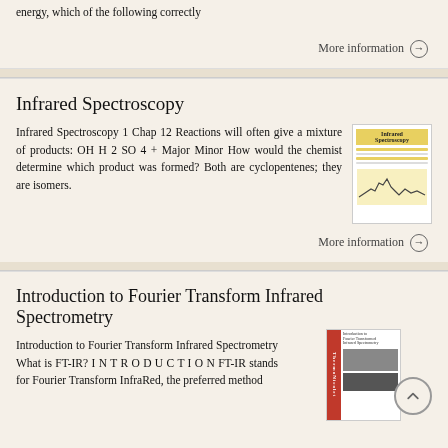energy, which of the following correctly
More information →
Infrared Spectroscopy
Infrared Spectroscopy 1 Chap 12 Reactions will often give a mixture of products: OH H 2 SO 4 + Major Minor How would the chemist determine which product was formed? Both are cyclopentenes; they are isomers.
[Figure (photo): Thumbnail image of Infrared Spectroscopy document with yellow header]
More information →
Introduction to Fourier Transform Infrared Spectrometry
Introduction to Fourier Transform Infrared Spectrometry What is FT-IR? I N T R O D U C T I O N FT-IR stands for Fourier Transform InfraRed, the preferred method
[Figure (photo): Thumbnail image of ThermoNicolet Fourier Transform Infrared Spectrometry booklet with red spine]